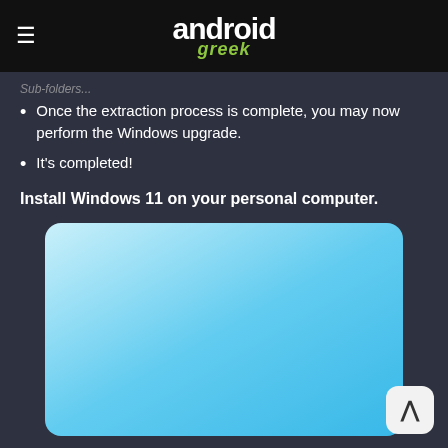android greek
Once the extraction process is complete, you may now perform the Windows upgrade.
It's completed!
Install Windows 11 on your personal computer.
[Figure (photo): A woman with curly dark hair wearing overalls, looking down, against a light blue background]